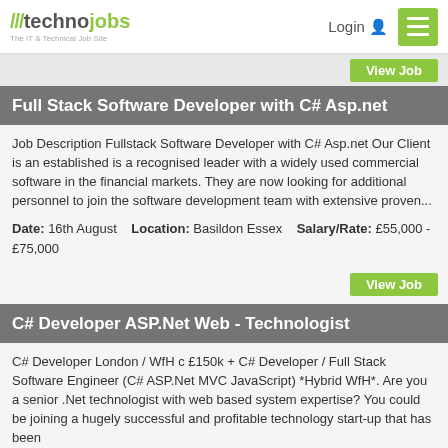/// technojobs - The IT & Technical Job Site | Login | Menu
View Job
Full Stack Software Developer with C# Asp.net
Job Description Fullstack Software Developer with C# Asp.net Our Client is an established is a recognised leader with a widely used commercial software in the financial markets. They are now looking for additional personnel to join the software development team with extensive proven...
Date: 16th August   Location: Basildon Essex   Salary/Rate: £55,000 - £75,000
View Job
C# Developer ASP.Net Web - Technologist
C# Developer London / WfH c £150k + C# Developer / Full Stack Software Engineer (C# ASP.Net MVC JavaScript) *Hybrid WfH*. Are you a senior .Net technologist with web based system expertise? You could be joining a hugely successful and profitable technology start-up that has been